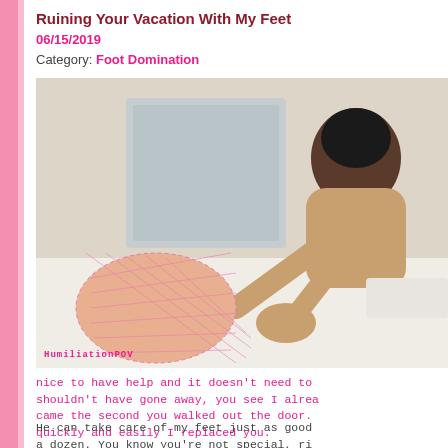Ruining Your Vacation With My Feet
06/15/2019
Category: Foot Domination
[Figure (photo): A woman sitting in a bathtub extending her foot toward the camera with a pink fishnet sock, watermark reads HumiliationPOV]
nice to have help and it doesn't need to shouldn't have gone away, you see I alrea came the second you walked out the door. quickly and easily I replaced you.
He can take care of my feet just as good a dozen. You know you're not special, ri I know you want it to be you who is pamn